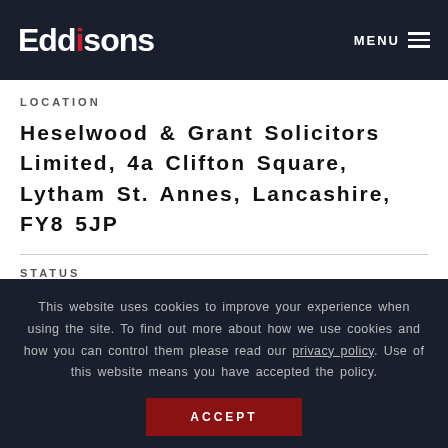Eddisons — MENU
LOCATION
Heselwood & Grant Solicitors Limited, 4a Clifton Square, Lytham St. Annes, Lancashire, FY8 5JP
STATUS
This website uses cookies to improve your experience when using the site. To find out more about how we use cookies and how you can control them please read our privacy policy. Use of this website means you have accepted the policy.
ACCEPT